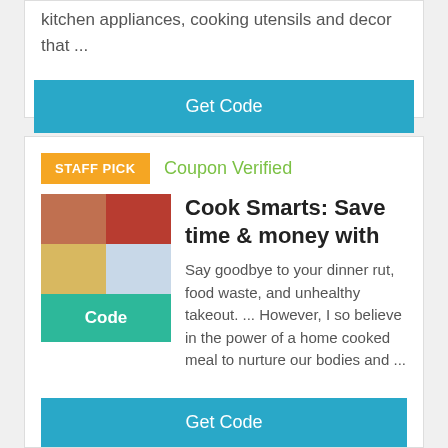kitchen appliances, cooking utensils and decor that ...
Get Code
STAFF PICK
Coupon Verified
Cook Smarts: Save time & money with
[Figure (photo): Food collage image showing various dishes in a 2x2 grid]
Code
Say goodbye to your dinner rut, food waste, and unhealthy takeout. ... However, I so believe in the power of a home cooked meal to nurture our bodies and ...
Get Code